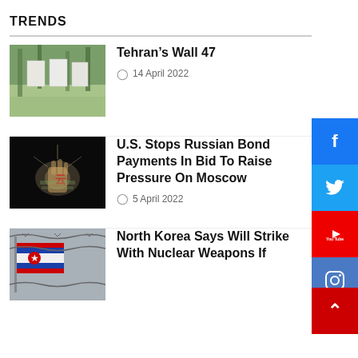TRENDS
[Figure (photo): Outdoor scene with white panels/canvases hanging among trees]
Tehran’s Wall 47
14 April 2022
[Figure (photo): Dark image of a hand holding currency bills under a spotlight]
U.S. Stops Russian Bond Payments In Bid To Raise Pressure On Moscow
5 April 2022
[Figure (photo): North Korea flag with barbed wire]
North Korea Says Will Strike With Nuclear Weapons If